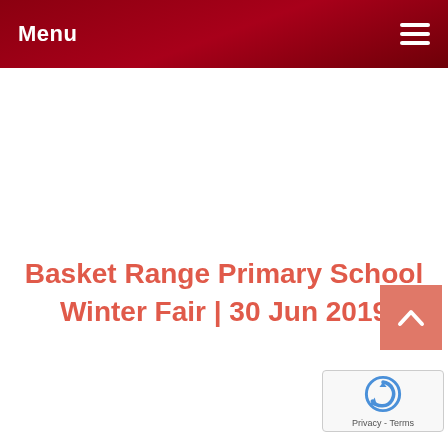Menu
Basket Range Primary School Winter Fair | 30 Jun 2019
[Figure (other): Scroll-to-top button with upward chevron arrow, salmon/coral color]
[Figure (other): Google reCAPTCHA badge with logo and Privacy - Terms text]